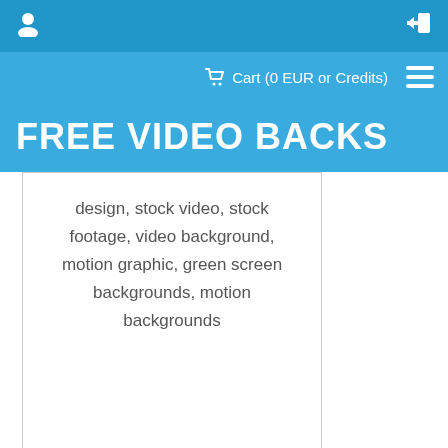Cart (0 EUR or Credits)
FREE VIDEO BACKS
design, stock video, stock footage, video background, motion graphic, green screen backgrounds, motion backgrounds
[Figure (photo): Bokeh/glitter video background thumbnail with teal and gold tones]